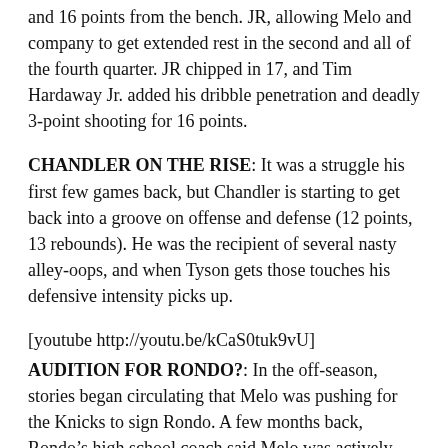and 16 points from the bench. JR, allowing Melo and company to get extended rest in the second and all of the fourth quarter. JR chipped in 17, and Tim Hardaway Jr. added his dribble penetration and deadly 3-point shooting for 16 points.
CHANDLER ON THE RISE: It was a struggle his first few games back, but Chandler is starting to get back into a groove on offense and defense (12 points, 13 rebounds). He was the recipient of several nasty alley-oops, and when Tyson gets those touches his defensive intensity picks up.
[youtube http://youtu.be/kCaS0tuk9vU]
AUDITION FOR RONDO?: In the off-season, stories began circulating that Melo was pushing for the Knicks to sign Rondo. A few months back, Rondo’s high school coach said Melo was actively trying to recruit him. Rondo is just six games back into his